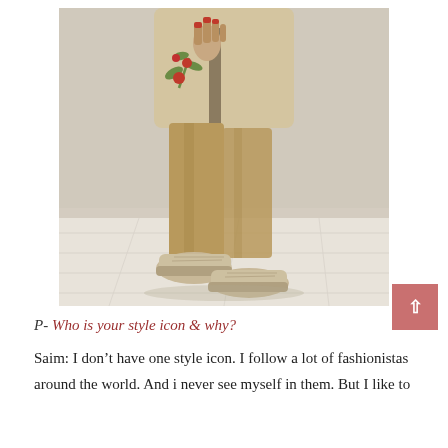[Figure (photo): A person wearing a beige/cream oversized jacket with red floral embroidery, fitted tan trousers, and chunky beige sneakers, standing on a light wood floor against a light gray wall background. Only the body from waist down to feet is visible.]
P- Who is your style icon & why?
Saim: I don't have one style icon. I follow a lot of fashionistas around the world. And i never see myself in them. But I like to